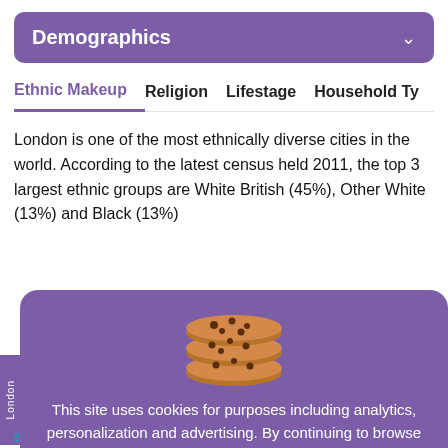Demographics
Ethnic Makeup   Religion   Lifestage   Household Ty...
London is one of the most ethnically diverse cities in the world. According to the latest census held 2011, the top 3 largest ethnic groups are White British (45%), Other White (13%) and Black (13%)
This site uses cookies for purposes including analytics, personalization and advertising. By continuing to browse this website you agree to this use. For more information see our Privacy Policy
Got it
average for London: